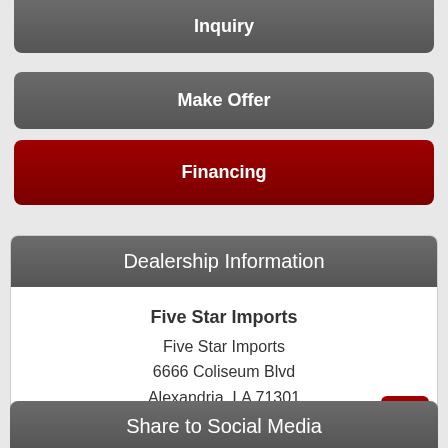Inquiry
Make Offer
Financing
Dealership Information
Five Star Imports
Five Star Imports
6666 Coliseum Blvd
Alexandria, LA 71301
318-443-5770
Share to Social Media